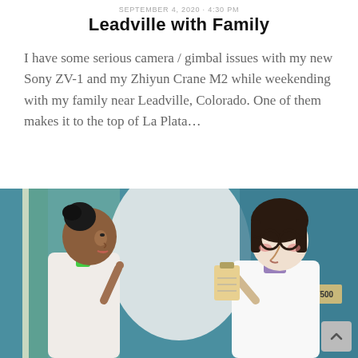SEPTEMBER 4, 2020 · 4:30 PM
Leadville with Family
I have some serious camera / gimbal issues with my new Sony ZV-1 and my Zhiyun Crane M2 while weekending with my family near Leadville, Colorado. One of them makes it to the top of La Plata…
[Figure (illustration): Animated illustration of two characters facing each other: on the left, a dark-haired woman with a bun in a white coat, and on the right, a person with round glasses and dark bob hair in a white lab coat holding a clipboard, with a sign reading 'W500' on the wall behind them.]